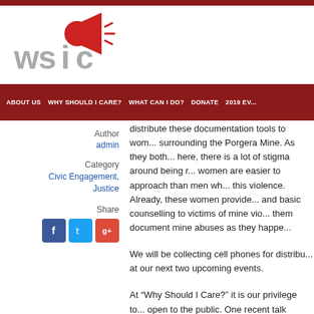[Figure (logo): WSIC logo with megaphone icon and gray text]
ABOUT US | WHY SHOULD I CARE? | WHAT CAN I DO? | DONATE | 2019 EV...
Author
admin
Category
Civic Engagement, Justice
Share
[Figure (other): Social sharing icons: Facebook, Twitter, Google+]
distribute these documentation tools to wom... surrounding the Porgera Mine. As they both... here, there is a lot of stigma around being r... women are easier to approach than men wh... this violence. Already, these women provide... and basic counselling to victims of mine vio... them document mine abuses as they happe...
We will be collecting cell phones for distrib... at our next two upcoming events.
At “Why Should I Care?” it is our privilege to... open to the public. One recent talk focused... Activities Abroad. Serendipitously, the woo...